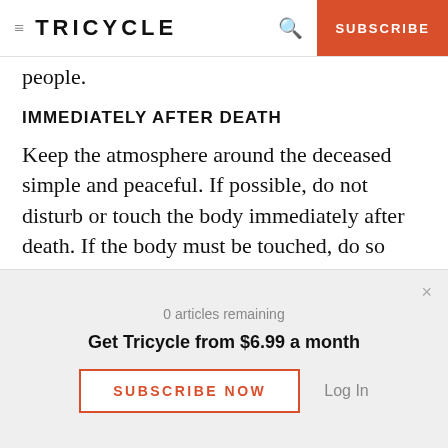TRICYCLE  SUBSCRIBE
people.
IMMEDIATELY AFTER DEATH
Keep the atmosphere around the deceased simple and peaceful. If possible, do not disturb or touch the body immediately after death. If the body must be touched, do so very gently.
Pray for peace and freedom for the one who has
0 articles remaining
Get Tricycle from $6.99 a month
SUBSCRIBE NOW   Log In